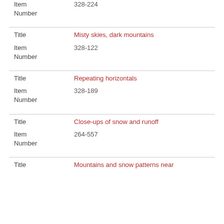Item Number	328-224
Title	Misty skies, dark mountains
Item Number	328-122
Title	Repeating horizontals
Item Number	328-189
Title	Close-ups of snow and runoff
Item Number	264-557
Title	Mountains and snow patterns near